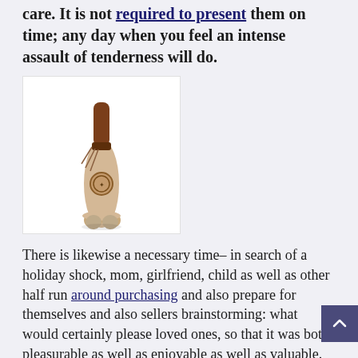care. It is not required to present them on time; any day when you feel an intense assault of tenderness will do.
[Figure (photo): A Native American-style decorative item: an elongated beige/tan object (possibly a rattle or ceremonial tool) with a brown wooden handle at the top, leather wrapping, fringe, and a circular medallion/seal in the middle.]
There is likewise a necessary time– in search of a holiday shock, mom, girlfriend, child as well as other half run around purchasing and also prepare for themselves and also sellers brainstorming: what would certainly please loved ones, so that it was both pleasurable as well as enjoyable as well as valuable.